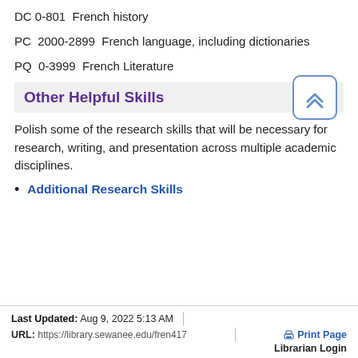DC 0-801  French history
PC  2000-2899  French language, including dictionaries
PQ  0-3999  French Literature
Other Helpful Skills
Polish some of the research skills that will be necessary for research, writing, and presentation across multiple academic disciplines.
Additional Research Skills
Last Updated: Aug 9, 2022 5:13 AM | URL: https://library.sewanee.edu/fren417 | Print Page | Librarian Login